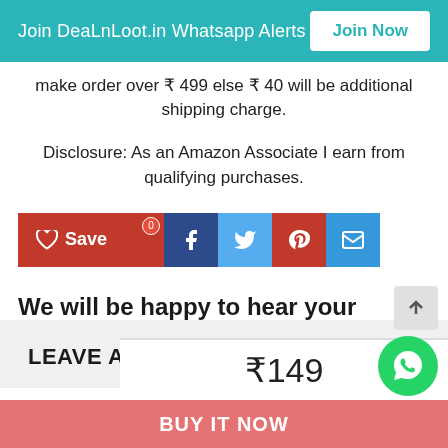Join DeaLnLoot.in Whatsapp Alerts  Join Now
make order over ₹ 499 else ₹ 40 will be additional shipping charge.
Disclosure: As an Amazon Associate I earn from qualifying purchases.
[Figure (other): Social share buttons: Save (heart icon, red), Facebook (dark blue), Twitter (light blue), Pinterest (red), Email (blue)]
We will be happy to hear your thoughts
LEAVE A REPLY
₹149
BUY IT NOW